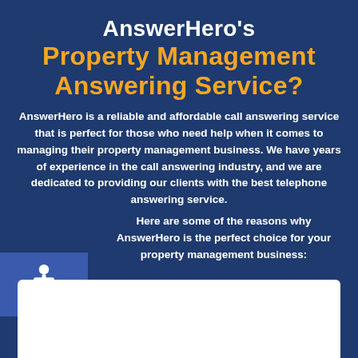AnswerHero's Property Management Answering Service?
AnswerHero is a reliable and affordable call answering service that is perfect for those who need help when it comes to managing their property management business. We have years of experience in the call answering industry, and we are dedicated to providing our clients with the best telephone answering service.
[Figure (illustration): Accessibility wheelchair icon in a blue square box on the left side]
Here are some of the reasons why AnswerHero is the perfect choice for your property management business:
[Figure (other): White rectangle box at the bottom of the page, partially visible]